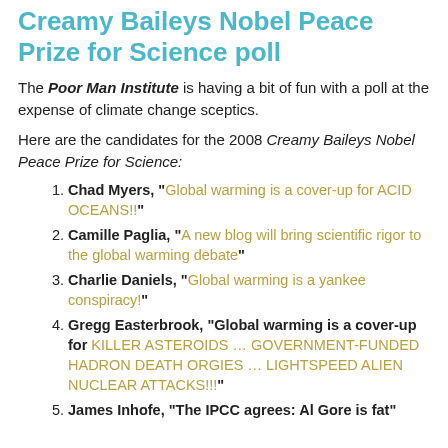Creamy Baileys Nobel Peace Prize for Science poll
The Poor Man Institute is having a bit of fun with a poll at the expense of climate change sceptics.
Here are the candidates for the 2008 Creamy Baileys Nobel Peace Prize for Science:
Chad Myers, "Global warming is a cover-up for ACID OCEANS!!"
Camille Paglia, "A new blog will bring scientific rigor to the global warming debate"
Charlie Daniels, "Global warming is a yankee conspiracy!"
Gregg Easterbrook, "Global warming is a cover-up for KILLER ASTEROIDS … GOVERNMENT-FUNDED HADRON DEATH ORGIES … LIGHTSPEED ALIEN NUCLEAR ATTACKS!!!"
James Inhofe, "The IPCC agrees: Al Gore is fat"